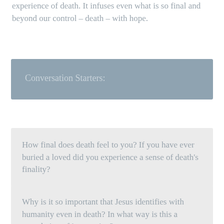experience of death. It infuses even what is so final and beyond our control – death – with hope.
Conversation Starters:
How final does death feel to you? If you have ever buried a loved did you experience a sense of death's finality?
Why is it so important that Jesus identifies with humanity even in death? In what way is this a completion of incarnation?